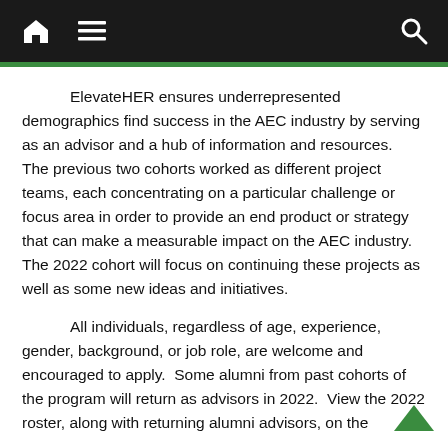Home | Menu | Search
ElevateHER ensures underrepresented demographics find success in the AEC industry by serving as an advisor and a hub of information and resources.  The previous two cohorts worked as different project teams, each concentrating on a particular challenge or focus area in order to provide an end product or strategy that can make a measurable impact on the AEC industry.  The 2022 cohort will focus on continuing these projects as well as some new ideas and initiatives.
All individuals, regardless of age, experience, gender, background, or job role, are welcome and encouraged to apply.  Some alumni from past cohorts of the program will return as advisors in 2022.  View the 2022 roster, along with returning alumni advisors, on the ElevateHER website.